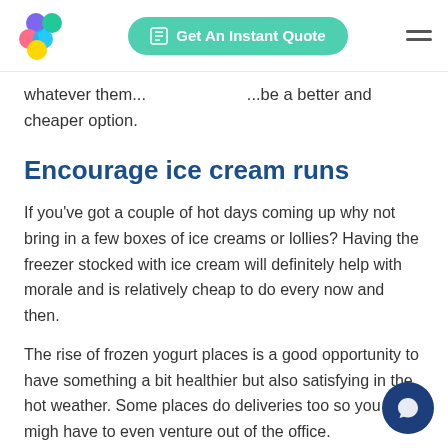Get An Instant Quote
whatever them... ...be a better and cheaper option.
Encourage ice cream runs
If you've got a couple of hot days coming up why not bring in a few boxes of ice creams or lollies? Having the freezer stocked with ice cream will definitely help with morale and is relatively cheap to do every now and then.
The rise of frozen yogurt places is a good opportunity to have something a bit healthier but also satisfying in the hot weather. Some places do deliveries too so you might not have to even venture out of the office.